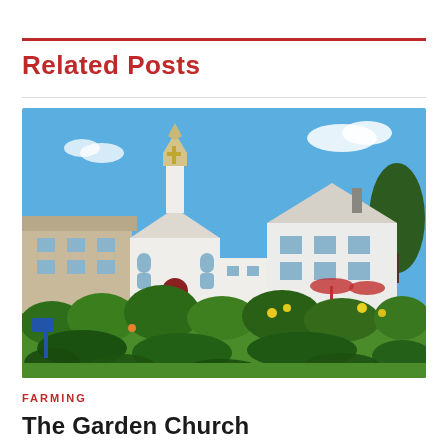Related Posts
[Figure (photo): Outdoor photograph of a white church with a steeple and gold cross, surrounded by white residential buildings, with a lush garden of green plants and colorful flowers in the foreground under a blue sky.]
FARMING
The Garden Church